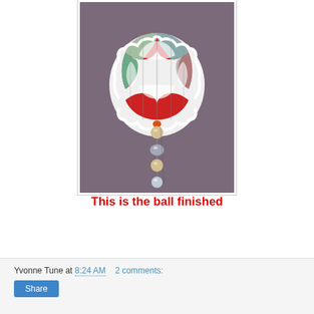[Figure (photo): A handmade paper honeycomb ball ornament in red, green, and white with beads hanging from the bottom, photographed against a purple background.]
This is the ball finished
Yvonne Tune at 8:24 AM   2 comments: